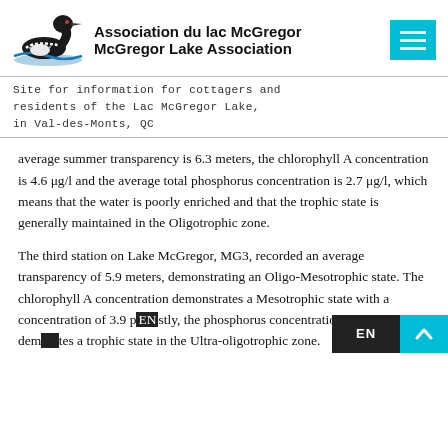Association du lac McGregor
McGregor Lake Association
Site for information for cottagers and residents of the Lac McGregor Lake, in Val-des-Monts, QC
average summer transparency is 6.3 meters, the chlorophyll A concentration is 4.6 μg/l and the average total phosphorus concentration is 2.7 μg/l, which means that the water is poorly enriched and that the trophic state is generally maintained in the Oligotrophic zone.
The third station on Lake McGregor, MG3, recorded an average transparency of 5.9 meters, demonstrating an Oligo-Mesotrophic state. The chlorophyll A concentration demonstrates a Mesotrophic state with a concentration of 3.9 p[...] stly, the phosphorus concentration of 3.0 μg/[...] dem[...] tes a trophic state in the Ultra-oligotrophic zone.